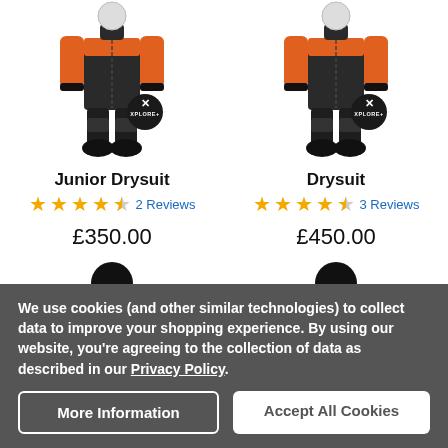[Figure (photo): Junior Drysuit product image with XPLORE+ badge, dark suit with orange accents]
[Figure (photo): Drysuit product image with XPLORE+ badge, dark suit with orange accents]
Junior Drysuit
2 Reviews
£350.00
Drysuit
3 Reviews
£450.00
We use cookies (and other similar technologies) to collect data to improve your shopping experience. By using our website, you're agreeing to the collection of data as described in our Privacy Policy.
More Information
Accept All Cookies